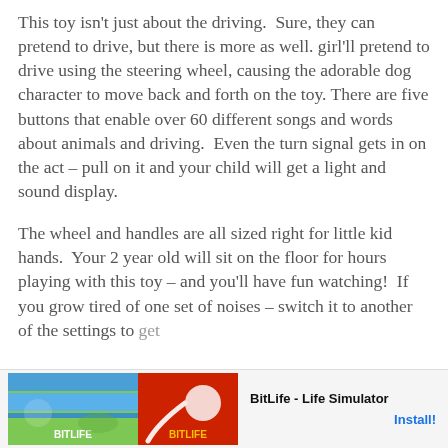This toy isn't just about the driving.  Sure, they can pretend to drive, but there is more as well. girl'll pretend to drive using the steering wheel, causing the adorable dog character to move back and forth on the toy. There are five buttons that enable over 60 different songs and words about animals and driving.  Even the turn signal gets in on the act – pull on it and your child will get a light and sound display.
The wheel and handles are all sized right for little kid hands.  Your 2 year old will sit on the floor for hours playing with this toy – and you'll have fun watching!  If you grow tired of one set of noises – switch it to another of the settings to get
[Figure (other): BitLife - Life Simulator advertisement banner with green and red game graphics, Ad label, and Install button]